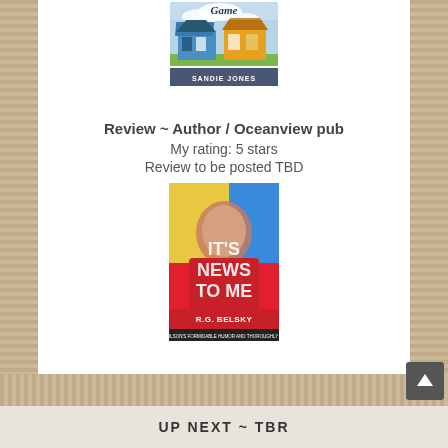[Figure (photo): Book cover for 'Game' by Sandie Jones showing colorful beach houses]
Review ~ Author / Oceanview pub
My rating: 5 stars
Review to be posted TBD
[Figure (photo): Book cover for 'It's News to Me' by R.G. Belsky showing a woman in a red jacket]
UP NEXT ~ TBR